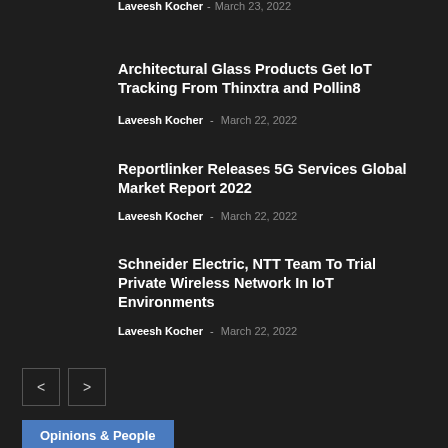Architectural Glass Products Get IoT Tracking From Thinxtra and Pollin8
Laveesh Kocher - March 22, 2022
Reportlinker Releases 5G Services Global Market Report 2022
Laveesh Kocher - March 22, 2022
Schneider Electric, NTT Team To Trial Private Wireless Network In IoT Environments
Laveesh Kocher - March 22, 2022
< >
Opinions & People